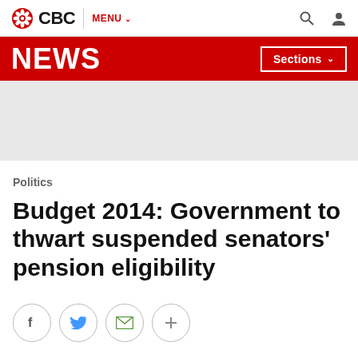CBC | MENU
NEWS | Sections
[Figure (other): Grey advertisement placeholder banner]
Politics
Budget 2014: Government to thwart suspended senators' pension eligibility
[Figure (other): Social share buttons: Facebook, Twitter, Email, More (+)]